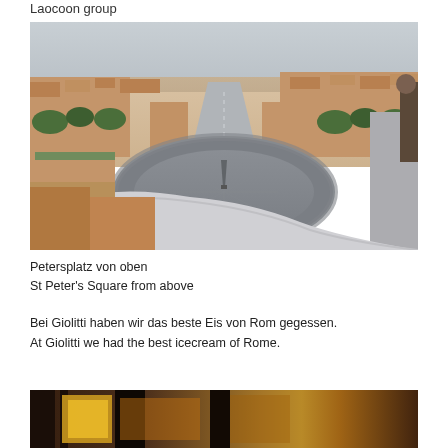Laocoon group
[Figure (photo): Aerial view of St Peter's Square in Vatican City, Rome, taken from above the dome of St Peter's Basilica. The large elliptical colonnade-lined square is visible with an obelisk at center, and the city of Rome spreads out in the background. The edge of the dome is visible in the foreground.]
Petersplatz von oben
St Peter's Square from above
Bei Giolitti haben wir das beste Eis von Rom gegessen.
At Giolitti we had the best icecream of Rome.
[Figure (photo): Partial view of a dark interior scene, possibly a restaurant or café interior, with warm golden/yellow tones visible.]